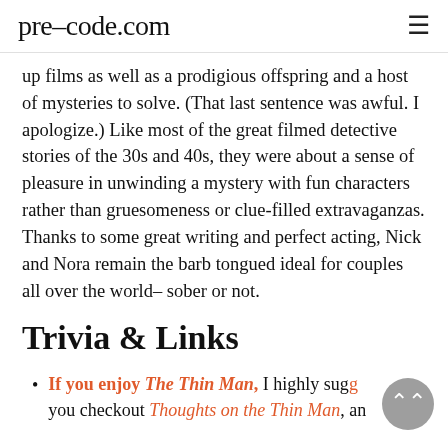pre-code.com
up films as well as a prodigious offspring and a host of mysteries to solve. (That last sentence was awful. I apologize.) Like most of the great filmed detective stories of the 30s and 40s, they were about a sense of pleasure in unwinding a mystery with fun characters rather than gruesomeness or clue-filled extravaganzas. Thanks to some great writing and perfect acting, Nick and Nora remain the barb tongued ideal for couples all over the world– sober or not.
Trivia & Links
If you enjoy The Thin Man, I highly suggest you checkout Thoughts on the Thin Man, an